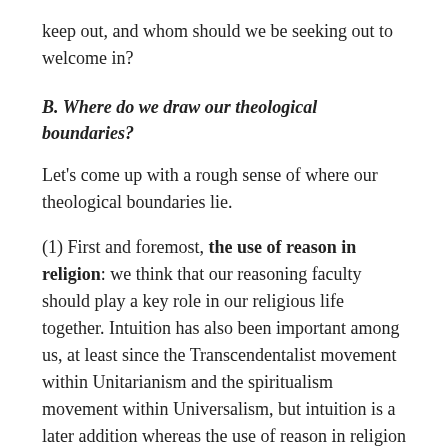keep out, and whom should we be seeking out to welcome in?
B. Where do we draw our theological boundaries?
Let's come up with a rough sense of where our theological boundaries lie.
(1) First and foremost, the use of reason in religion: we think that our reasoning faculty should play a key role in our religious life together. Intuition has also been important among us, at least since the Transcendentalist movement within Unitarianism and the spiritualism movement within Universalism, but intuition is a later addition whereas the use of reason in religion is a foundational principle. Blind faith, however, is deprecated or denied among us, and someone who insists on blind faith as a primary religious modality would not feel comfortable among us.